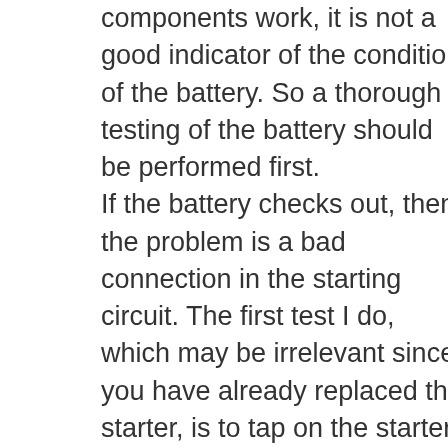components work, it is not a good indicator of the condition of the battery. So a thorough testing of the battery should be performed first. If the battery checks out, then the problem is a bad connection in the starting circuit. The first test I do, which may be irrelevant since you have already replaced the starter, is to tap on the starter with a hammer while someone is attempting to start it. If it cranks the motor, it needs a starter. It is possible a new starter is bad, so there is still some value in performing this test. If this doesn't reveal a bad starter, another simple and test is to attempt to crank the car for up to thirty seconds. Pay attention to smoke or any electrical burning smells that might occur. If you experience one of these, immediately stop and look under the hood